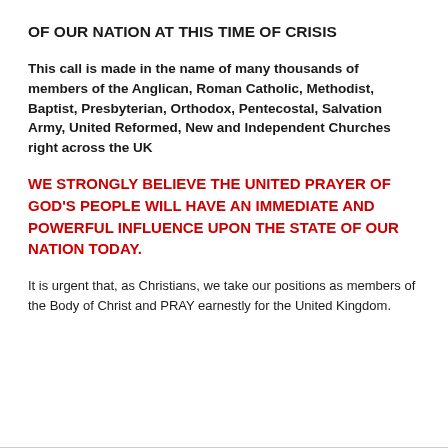OF OUR NATION AT THIS TIME OF CRISIS
This call is made in the name of many thousands of members of the Anglican, Roman Catholic, Methodist, Baptist, Presbyterian, Orthodox, Pentecostal, Salvation Army, United Reformed, New and Independent Churches right across the UK
WE STRONGLY BELIEVE THE UNITED PRAYER OF GOD'S PEOPLE WILL HAVE AN IMMEDIATE AND POWERFUL INFLUENCE UPON THE STATE OF OUR NATION TODAY.
It is urgent that, as Christians, we take our positions as members of the Body of Christ and PRAY earnestly for the United Kingdom.